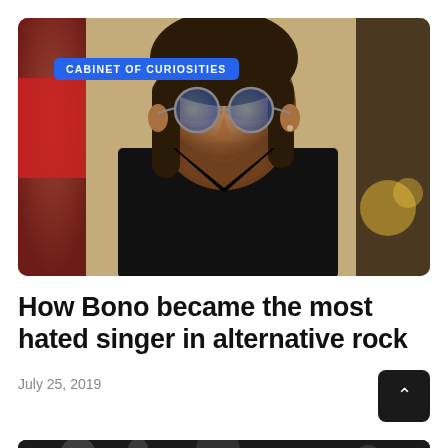[Figure (photo): A man with blue-tinted round glasses, long dark hair, wearing a black jacket, photographed against a blurred background with a red flag and golden tones.]
CABINET OF CURIOSITIES
How Bono became the most hated singer in alternative rock
July 25, 2019
[Figure (photo): Partial view of a performer on stage, dark and moody lighting.]